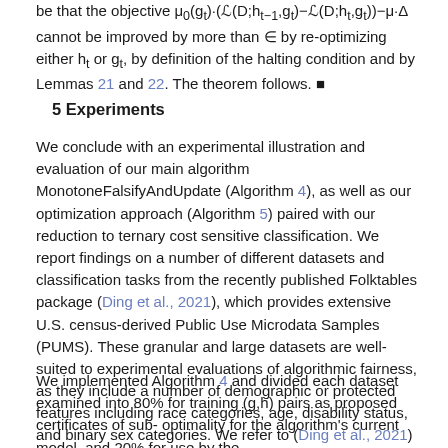be that the objective μ₀(gₜ)·(ℒ(D;hₜ₋₁,gₜ)−ℒ(D;hₜ,gₜ))−μ·Δ cannot be improved by more than ∈ by re-optimizing either hₜ or gₜ, by definition of the halting condition and by Lemmas 21 and 22. The theorem follows. ■
5 Experiments
We conclude with an experimental illustration and evaluation of our main algorithm MonotoneFalsifyAndUpdate (Algorithm 4), as well as our optimization approach (Algorithm 5) paired with our reduction to ternary cost sensitive classification. We report findings on a number of different datasets and classification tasks from the recently published Folktables package (Ding et al., 2021), which provides extensive U.S. census-derived Public Use Microdata Samples (PUMS). These granular and large datasets are well-suited to experimental evaluations of algorithmic fairness, as they include a number of demographic or protected features including race categories, age, disability status, and binary sex categories. We refer to (Ding et al., 2021) for details of the datasets examined below.
We implemented Algorithm 4 and divided each dataset examined into 80% for training (g,h) pairs as proposed certificates of sub-optimality for the algorithm's current model, and 20% for use by the